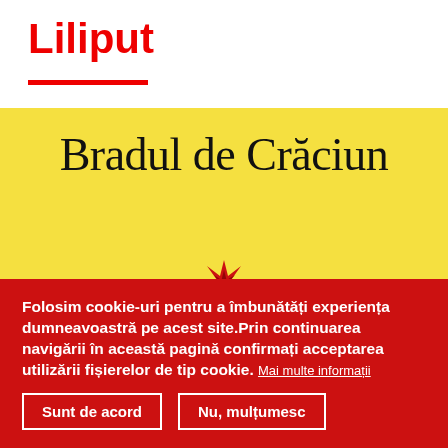Liliput
[Figure (illustration): Book cover with yellow background showing the title 'Bradul de Crăciun' in serif font and a small red flame/star icon at the bottom center]
Folosim cookie-uri pentru a îmbunătăți experiența dumneavoastră pe acest site.Prin continuarea navigării în această pagină confirmați acceptarea utilizării fișierelor de tip cookie. Mai multe informații
Sunt de acord
Nu, mulțumesc